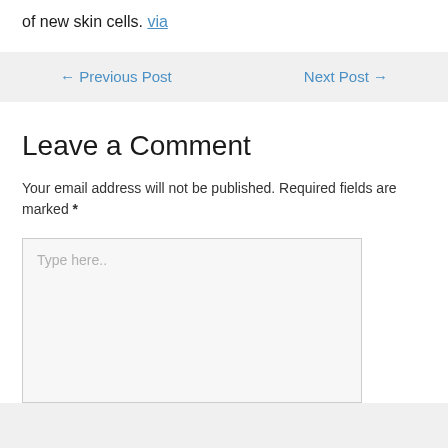of new skin cells. via
← Previous Post
Next Post →
Leave a Comment
Your email address will not be published. Required fields are marked *
Type here..